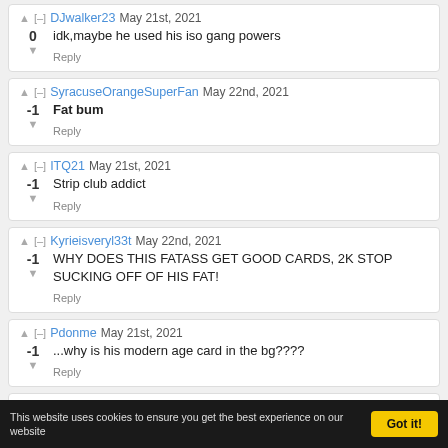DJwalker23 May 21st, 2021 — 0 — idk,maybe he used his iso gang powers — Reply
SyracuseOrangeSuperFan May 22nd, 2021 — -1 — Fat bum — Reply
ITQ21 May 21st, 2021 — -1 — Strip club addict — Reply
Kyrieisveryl33t May 22nd, 2021 — -1 — WHY DOES THIS FATASS GET GOOD CARDS, 2K STOP SUCKING OFF OF HIS FAT! — Reply
Pdonme May 21st, 2021 — -1 — ...why is his modern age card in the bg???? — Reply
TheBiggestPelicansFan May 22nd, 2021
This website uses cookies to ensure you get the best experience on our website